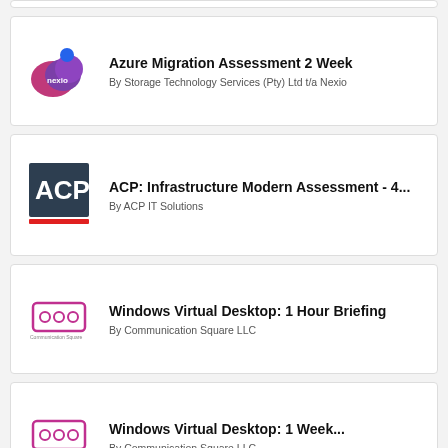[Figure (logo): Partial card visible at top of page]
Azure Migration Assessment 2 Week
By Storage Technology Services (Pty) Ltd t/a Nexio
ACP: Infrastructure Modern Assessment - 4...
By ACP IT Solutions
Windows Virtual Desktop: 1 Hour Briefing
By Communication Square LLC
Windows Virtual Desktop: 1 Week...
By Communication Square LLC